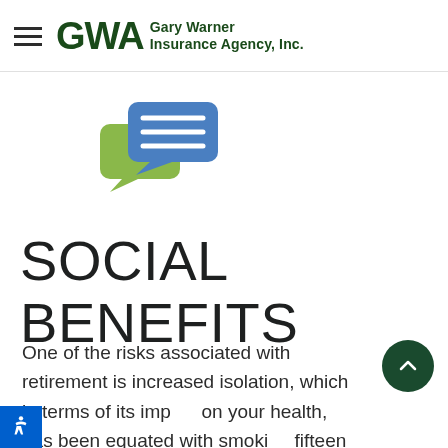GWA Gary Warner Insurance Agency, Inc.
[Figure (illustration): Two overlapping speech bubble icons: a blue speech bubble with horizontal lines on top, and a green speech bubble behind/below it, representing communication or messaging.]
SOCIAL BENEFITS
One of the risks associated with retirement is increased isolation, which in terms of its impact on your health, has been equated with smoking fifteen cigarettes a day. Working with others